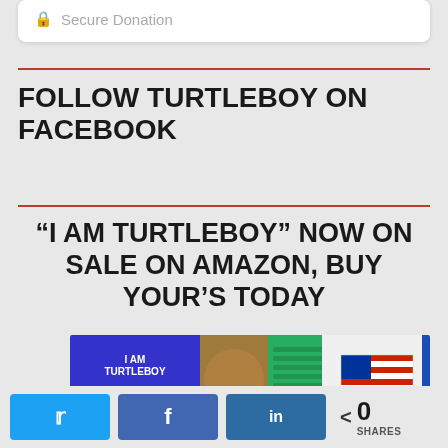Secure Donation
FOLLOW TURTLEBOY ON FACEBOOK
“I AM TURTLEBOY” NOW ON SALE ON AMAZON, BUY YOUR’S TODAY
[Figure (photo): Book cover collage showing I AM TURTLEBOY book in blue, green background with image and text, and flag graphic with cursive turtleboy branding]
0 SHARES